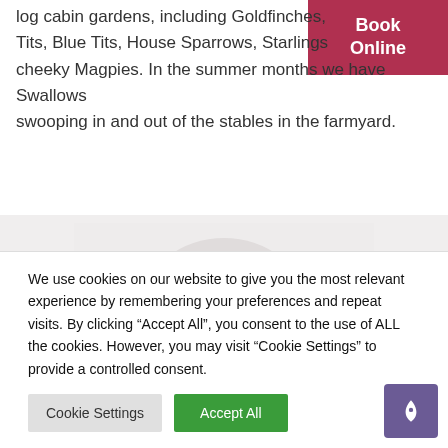log cabin gardens, including Goldfinches, Tits, Blue Tits, House Sparrows, Starlings and cheeky Magpies. In the summer months we have Swallows swooping in and out of the stables in the farmyard.
[Figure (photo): Faded/washed out photo in the middle section of the page, light grey tones suggesting an outdoor or nature scene.]
We use cookies on our website to give you the most relevant experience by remembering your preferences and repeat visits. By clicking “Accept All”, you consent to the use of ALL the cookies. However, you may visit “Cookie Settings” to provide a controlled consent.